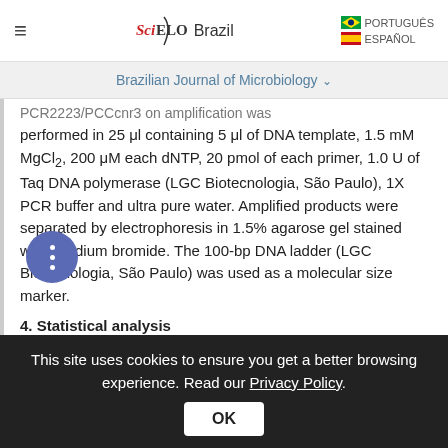SciELO Brazil — PORTUGUÊS / ESPAÑOL
Brazilian Journal of Microbiology
performed in 25 μl containing 5 μl of DNA template, 1.5 mM MgCl₂, 200 μM each dNTP, 20 pmol of each primer, 1.0 U of Taq DNA polymerase (LGC Biotecnologia, São Paulo), 1X PCR buffer and ultra pure water. Amplified products were separated by electrophoresis in 1.5% agarose gel stained with ethidium bromide. The 100-bp DNA ladder (LGC Biotecnologia, São Paulo) was used as a molecular size marker.
4. Statistical analysis
This site uses cookies to ensure you get a better browsing experience. Read our Privacy Policy.